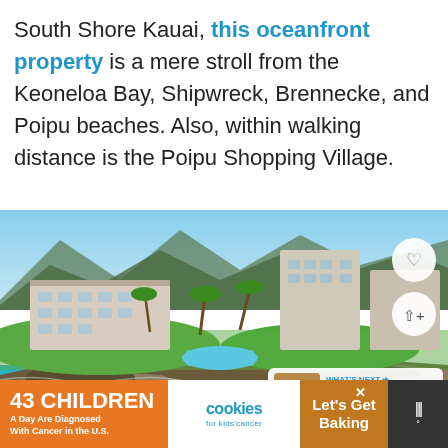South Shore Kauai, this oceanfront property is a mere stroll from the Keoneloa Bay, Shipwreck, Brennecke, and Poipu beaches. Also, within walking distance is the Poipu Shopping Village.
[Figure (photo): Aerial view of an oceanfront resort property in Kauai, Hawaii, showing multi-story buildings surrounded by tropical vegetation, a swimming pool, rocky coastline, and turquoise ocean water. Mountains visible in the background. UI overlay elements include a heart/favorite button, share button, and a 'What's Next' card showing Impressive Kauai Luxur...]
43 CHILDREN A Day Are Diagnosed With Cancer in the U.S. | cookies for kids' cancer | Let's Get Baking